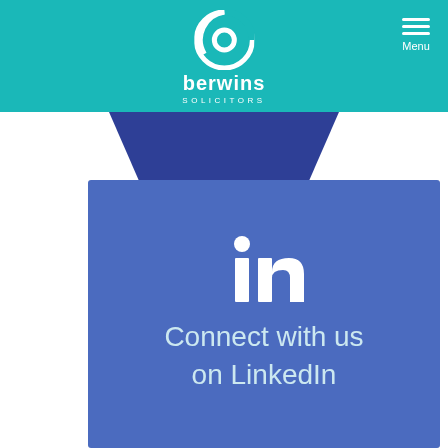[Figure (logo): Berwins Solicitors logo with circular icon and text 'berwins SOLICITORS' on teal header bar]
[Figure (infographic): LinkedIn 'in' logo icon centered on a blue rectangle card with dark blue tab shape above it, and text 'Connect with us on LinkedIn' below the icon]